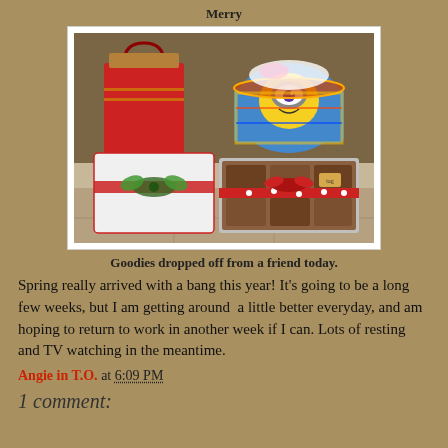Merry
[Figure (photo): Photo of Christmas/holiday gift packages on a table — wrapped presents with red ribbon, a Minion-themed gift basket, a tray of baked goods with red polka-dot ribbon, and a white towel wrapped with green ribbon]
Goodies dropped off from a friend today.
Spring really arrived with a bang this year! It's going to be a long few weeks, but I am getting around  a little better everyday, and am hoping to return to work in another week if I can. Lots of resting and TV watching in the meantime.
Angie in T.O. at 6:09 PM
1 comment: